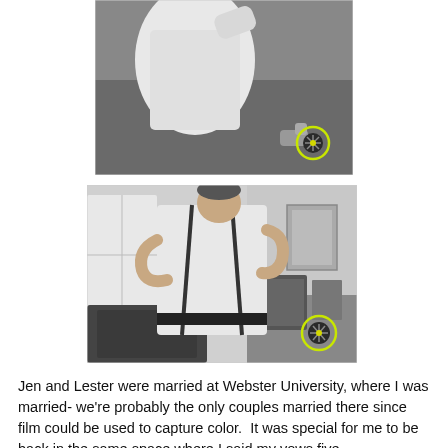[Figure (photo): Black and white wedding photo showing a person in white dress/clothing outdoors on grass, with a small animal nearby. A circular yellow/green highlighted marker is overlaid on an object in the lower right area of the image.]
[Figure (photo): Black and white photo of a young man in a white dress shirt with black suspenders, looking down and adjusting his clothing, standing near a window. Items on a table visible to the right. A circular yellow/green highlighted marker is overlaid in the lower right area of the image.]
Jen and Lester were married at Webster University, where I was married- we're probably the only couples married there since film could be used to capture color.  It was special for me to be back in the same space where I said my vows five